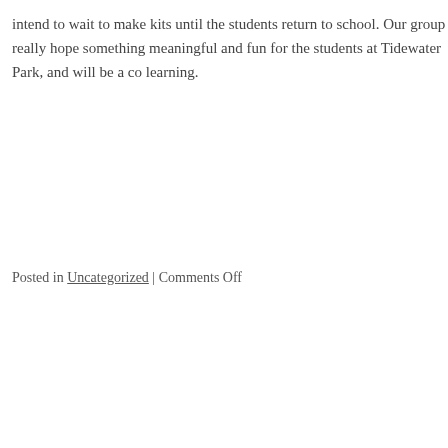intend to wait to make kits until the students return to school. Our group really hope something meaningful and fun for the students at Tidewater Park, and will be a co learning.
Posted in Uncategorized | Comments Off